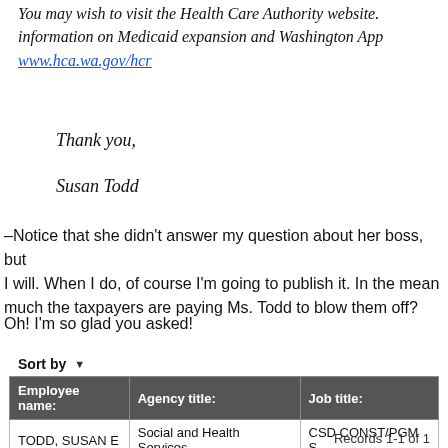You may wish to visit the Health Care Authority website. information on Medicaid expansion and Washington App
www.hca.wa.gov/hcr
Thank you,
Susan Todd
–Notice that she didn't answer my question about her boss, but I will. When I do, of course I'm going to publish it. In the mean much the taxpayers are paying Ms. Todd to blow them off?
Oh! I'm so glad you asked!
| Employee name: | Agency title: | Job title: |
| --- | --- | --- |
| TODD, SUSAN E | Social and Health Services | CSD CONST/PGM S |
Records 1-1 of 1